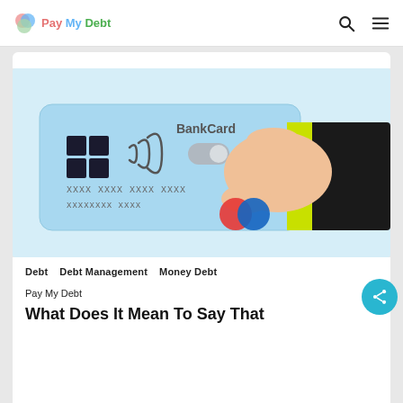Pay My Debt
[Figure (illustration): Illustration of a hand in a dark suit sleeve with a yellow cuff holding a light blue bank card labeled 'BankCard', with contactless payment icon, chip icon, card number placeholder (XXXX XXXX XXXX XXXX), and a Mastercard-style logo (red and blue circles). The background is light blue.]
Debt   Debt Management   Money Debt
Pay My Debt
What Does It Mean To Say That